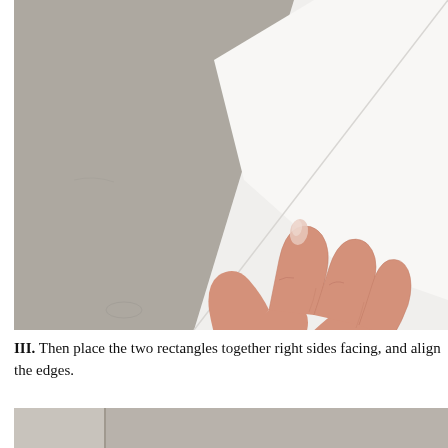[Figure (photo): A hand holding and lifting a piece of white fabric or paper over a grey/beige surface, showing the right side facing up. The fabric forms a diagonal shape as it is lifted.]
III. Then place the two rectangles together right sides facing, and align the edges.
[Figure (photo): Bottom portion of an image showing a grey/beige surface with what appears to be the beginning of the next step illustration.]